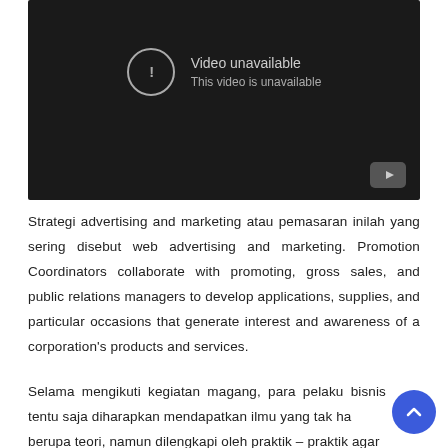[Figure (screenshot): YouTube-style video player showing 'Video unavailable' message with exclamation mark icon in circle, subtitle 'This video is unavailable', and YouTube logo button in bottom right corner. Dark background.]
Strategi advertising and marketing atau pemasaran inilah yang sering disebut web advertising and marketing. Promotion Coordinators collaborate with promoting, gross sales, and public relations managers to develop applications, supplies, and particular occasions that generate interest and awareness of a corporation's products and services.
Selama mengikuti kegiatan magang, para pelaku bisnis tentu saja diharapkan mendapatkan ilmu yang tak ha berupa teori, namun dilengkapi oleh praktik – praktik agar